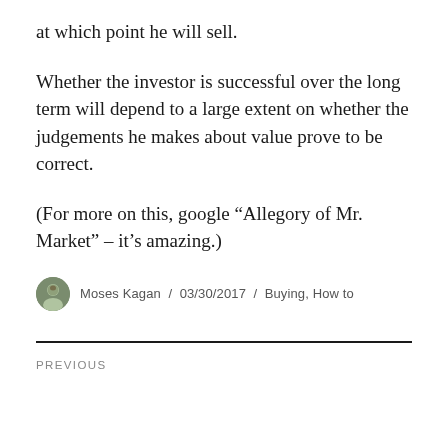at which point he will sell.
Whether the investor is successful over the long term will depend to a large extent on whether the judgements he makes about value prove to be correct.
(For more on this, google “Allegory of Mr. Market” – it’s amazing.)
Moses Kagan / 03/30/2017 / Buying, How to
PREVIOUS